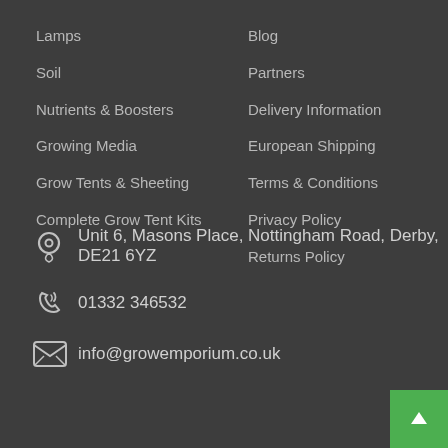Lamps
Soil
Nutrients & Boosters
Growing Media
Grow Tents & Sheeting
Complete Grow Tent Kits
Blog
Partners
Delivery Information
European Shipping
Terms & Conditions
Privacy Policy
Returns Policy
Unit 6, Masons Place, Nottingham Road, Derby, DE21 6YZ
01332 346532
info@growemporium.co.uk